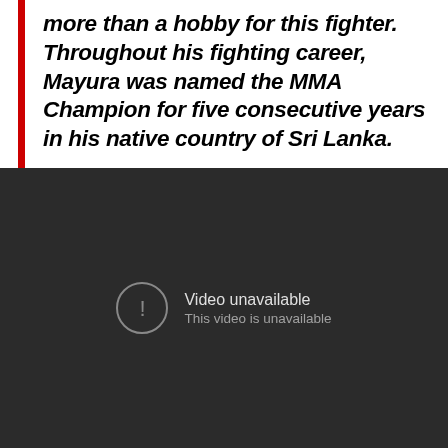more than a hobby for this fighter. Throughout his fighting career, Mayura was named the MMA Champion for five consecutive years in his native country of Sri Lanka.
[Figure (other): Embedded video player showing an unavailable video with a dark background and 'Video unavailable / This video is unavailable' message.]